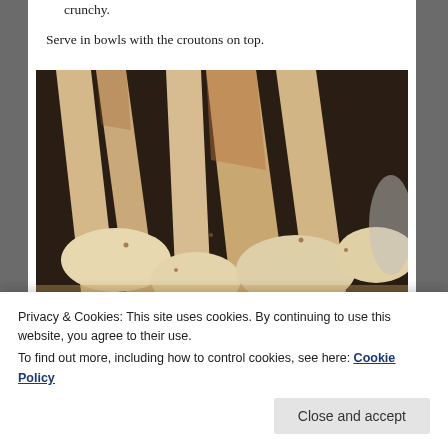crunchy.
Serve in bowls with the croutons on top.
[Figure (photo): Close-up photo of roasted parsnips and onion wedges in a baking dish, golden brown and seasoned with spices.]
Privacy & Cookies: This site uses cookies. By continuing to use this website, you agree to their use.
To find out more, including how to control cookies, see here: Cookie Policy
Close and accept